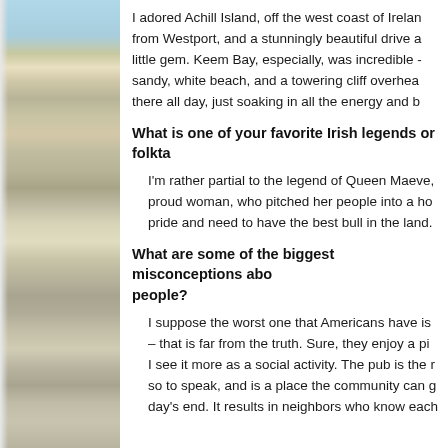I adored Achill Island, off the west coast of Ireland, from Westport, and a stunningly beautiful drive and little gem. Keem Bay, especially, was incredible - sandy, white beach, and a towering cliff overhead. there all day, just soaking in all the energy and b
What is one of your favorite Irish legends or folkta
I'm rather partial to the legend of Queen Maeve, proud woman, who pitched her people into a ho pride and need to have the best bull in the land.
What are some of the biggest misconceptions about people?
I suppose the worst one that Americans have is – that is far from the truth. Sure, they enjoy a pi I see it more as a social activity. The pub is the so to speak, and is a place the community can g day's end. It results in neighbors who know each